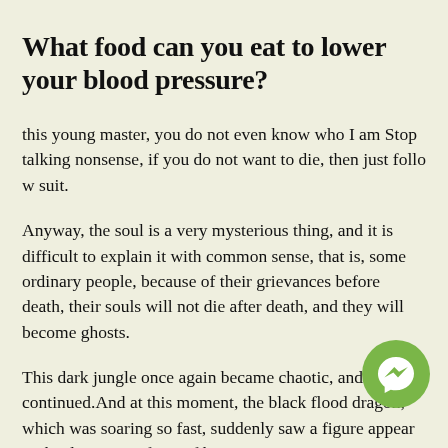What food can you eat to lower your blood pressure?
this young master, you do not even know who I am Stop talking nonsense, if you do not want to die, then just follow suit.
Anyway, the soul is a very mysterious thing, and it is difficult to explain it with common sense, that is, some ordinary people, because of their grievances before death, their souls will not die after death, and they will become ghosts.
This dark jungle once again became chaotic, and the roar continued.And at this moment, the black flood dragon, which was soaring so fast, suddenly saw a figure appear in the distance in front of him.
[Figure (illustration): Green circular Facebook Messenger icon button in bottom-right corner]